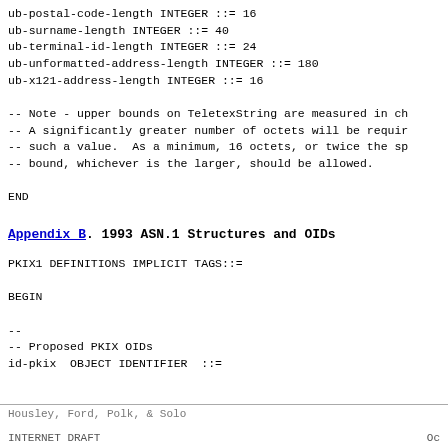ub-postal-code-length INTEGER ::= 16
ub-surname-length INTEGER ::= 40
ub-terminal-id-length INTEGER ::= 24
ub-unformatted-address-length INTEGER ::= 180
ub-x121-address-length INTEGER ::= 16

-- Note - upper bounds on TeletexString are measured in ch
-- A significantly greater number of octets will be requir
-- such a value.  As a minimum, 16 octets, or twice the sp
-- bound, whichever is the larger, should be allowed.

END
Appendix B. 1993 ASN.1 Structures and OIDs
PKIX1 DEFINITIONS IMPLICIT TAGS::=

BEGIN

--
-- Proposed PKIX OIDs
id-pkix  OBJECT IDENTIFIER  ::=
Housley, Ford, Polk, & Solo
INTERNET DRAFT                                                        Oc